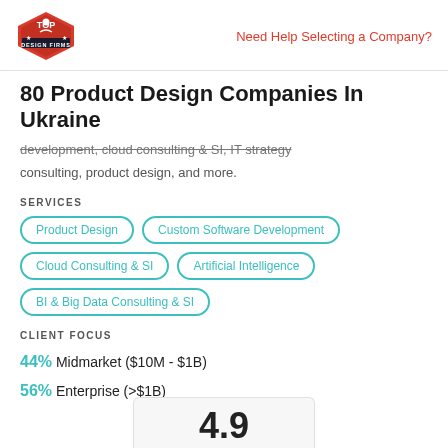Top Design Firms | Need Help Selecting a Company?
80 Product Design Companies In Ukraine
development, cloud consulting & SI, IT strategy consulting, product design, and more.
SERVICES
Product Design
Custom Software Development
Cloud Consulting & SI
Artificial Intelligence
BI & Big Data Consulting & SI
CLIENT FOCUS
44% Midmarket ($10M - $1B)
56% Enterprise (>$1B)